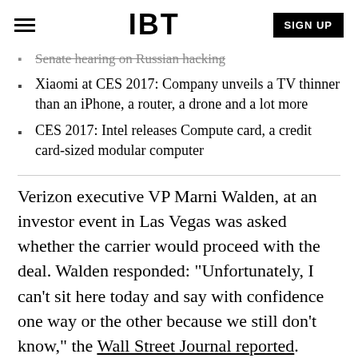IBT | SIGN UP
Senate hearing on Russian hacking
Xiaomi at CES 2017: Company unveils a TV thinner than an iPhone, a router, a drone and a lot more
CES 2017: Intel releases Compute card, a credit card-sized modular computer
Verizon executive VP Marni Walden, at an investor event in Las Vegas was asked whether the carrier would proceed with the deal. Walden responded: "Unfortunately, I can't sit here today and say with confidence one way or the other because we still don't know," the Wall Street Journal reported.